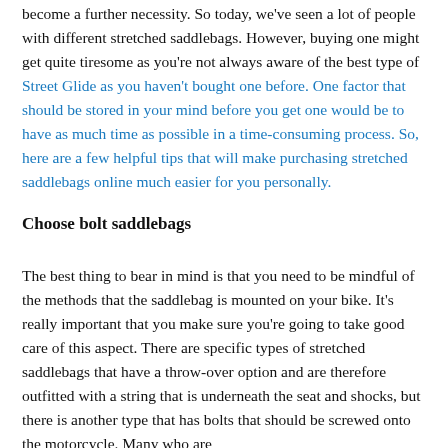become a further necessity. So today, we've seen a lot of people with different stretched saddlebags. However, buying one might get quite tiresome as you're not always aware of the best type of Stretched Saddlebags for Harley Davidson Street Glide as you haven't bought one before. One factor that should be stored in your mind before you get one would be to have as much time as possible in a time-consuming process. So, here are a few helpful tips that will make purchasing stretched saddlebags online much easier for you personally.
Choose bolt saddlebags
The best thing to bear in mind is that you need to be mindful of the methods that the saddlebag is mounted on your bike. It's really important that you make sure you're going to take good care of this aspect. There are specific types of stretched saddlebags that have a throw-over option and are therefore outfitted with a string that is underneath the seat and shocks, but there is another type that has bolts that should be screwed onto the motorcycle. Many who are